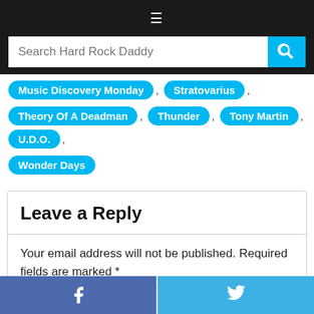≡
Search Hard Rock Daddy
Music Discovery Monday
Stratovarius
Theory Of A Deadman
Thunder
Tony Martin
U.D.O.
Wonder Days
Leave a Reply
Your email address will not be published. Required fields are marked *